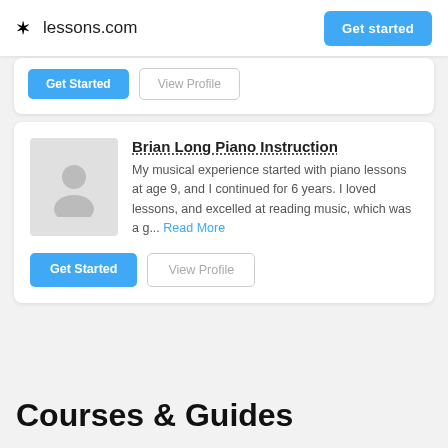lessons.com  Get started
[Figure (screenshot): Partial card with Get Started and View Profile buttons visible at top]
Brian Long Piano Instruction
My musical experience started with piano lessons at age 9, and I continued for 6 years. I loved lessons, and excelled at reading music, which was a g... Read More
Courses & Guides